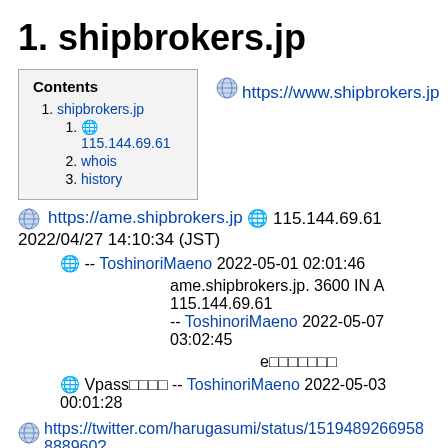1. shipbrokers.jp
| Contents |
| 1. shipbrokers.jp |
| 1. 🌐 115.144.69.61 |
| 2. whois |
| 3. history |
https://www.shipbrokers.jp
https://ame.shipbrokers.jp 🌐 115.144.69.61 2022/04/27 14:10:34 (JST)
🌐 -- ToshinoriMaeno 2022-05-01 02:01:46
ame.shipbrokers.jp. 3600 IN A 115.144.69.61 -- ToshinoriMaeno 2022-05-07 03:02:45
e□□□□□□□
🌐 Vpass□□□□ -- ToshinoriMaeno 2022-05-03 00:01:28
https://twitter.com/harugasumi/status/1519489266958888960?s=20&t=jZc3w_YQKZVEgeSv7WQDA